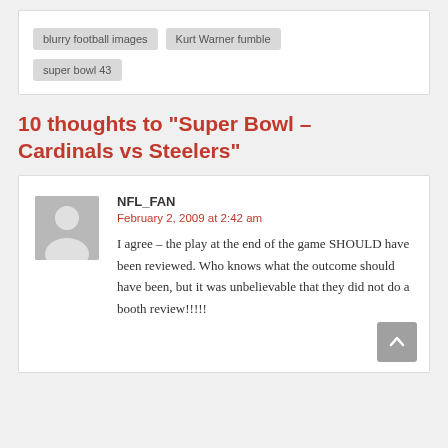blurry football images
Kurt Warner fumble
super bowl 43
10 thoughts to “Super Bowl – Cardinals vs Steelers”
NFL_FAN
February 2, 2009 at 2:42 am
I agree – the play at the end of the game SHOULD have been reviewed. Who knows what the outcome should have been, but it was unbelievable that they did not do a booth review!!!!!